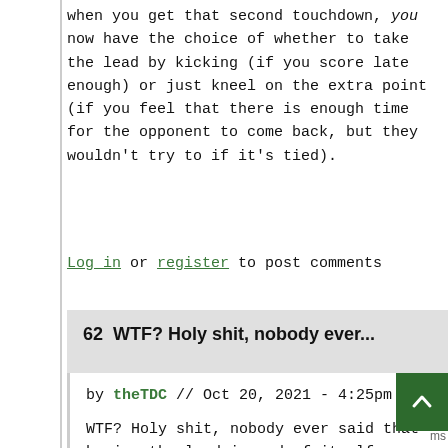when you get that second touchdown, you now have the choice of whether to take the lead by kicking (if you score late enough) or just kneel on the extra point (if you feel that there is enough time for the opponent to come back, but they wouldn't try to if it's tied).
Log in or register to post comments
62  WTF? Holy shit, nobody ever...
by theTDC // Oct 20, 2021 - 4:25pm
WTF? Holy shit, nobody ever said that having the lead in and of itself provided negative winning